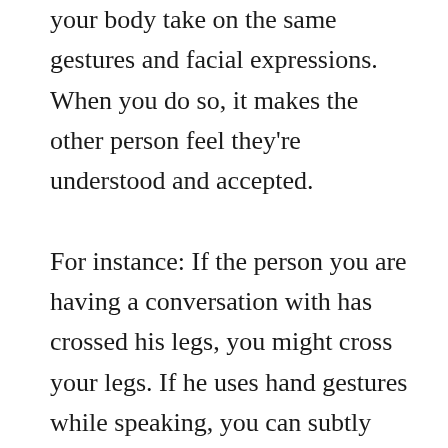your body take on the same gestures and facial expressions. When you do so, it makes the other person feel they're understood and accepted. For instance: If the person you are having a conversation with has crossed his legs, you might cross your legs. If he uses hand gestures while speaking, you can subtly imitate it. But don't mirror each and every body movement, as you would appear weird and make the other person uncomfortable.